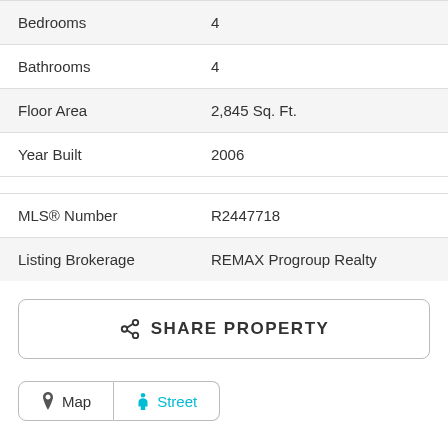| Property | Value |
| --- | --- |
| Bedrooms | 4 |
| Bathrooms | 4 |
| Floor Area | 2,845 Sq. Ft. |
| Year Built | 2006 |
| MLS® Number | R2447718 |
| Listing Brokerage | REMAX Progroup Realty |
SHARE PROPERTY
Map  Street